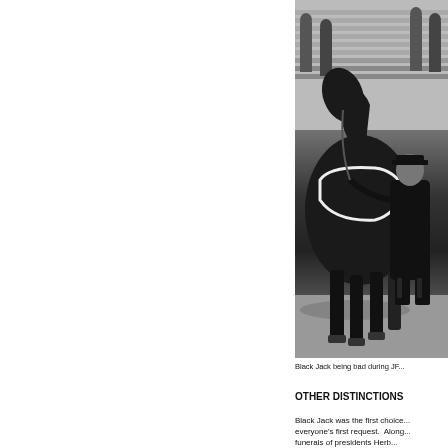[Figure (photo): Black and white photograph of Black Jack, a riderless horse, being led by a military handler. Soldiers stand in formation on bleacher steps in the background. The horse has a ceremonial blanket/saddle with white trim. The photo is taken outdoors in bright sunlight, casting shadows on the ground.]
Black Jack being bad during JF...
OTHER DISTINCTIONS
Black Jack was the first choice... everyone's first request.  Along... funerals of presidents Herb...